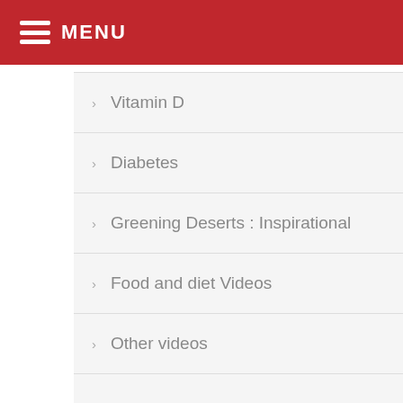MENU
Vitamin D
Diabetes
Greening Deserts : Inspirational
Food and diet Videos
Other videos